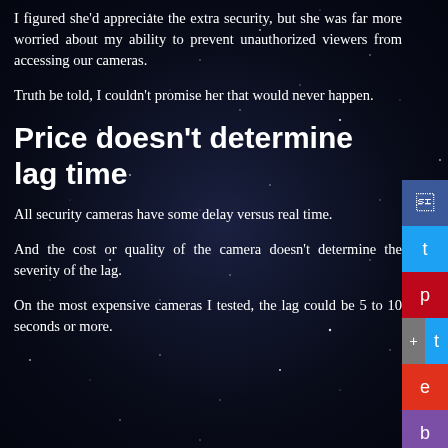I figured she'd appreciate the extra security, but she was far more worried about my ability to prevent unauthorized viewers from accessing our cameras.
Truth be told, I couldn't promise her that would never happen.
Price doesn't determine lag time
All security cameras have some delay versus real time.
And the cost or quality of the camera doesn't determine the severity of the lag.
On the most expensive cameras I tested, the lag could be 5 to 10 seconds or more.